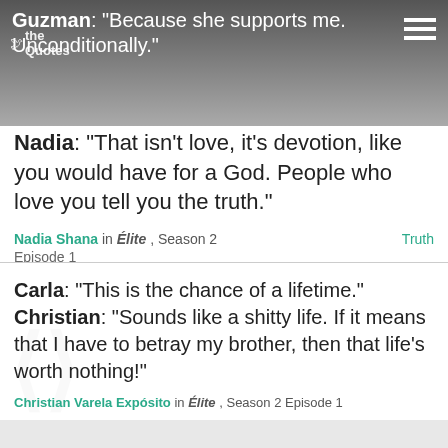The Quotes
Guzman: "Because she supports me. Unconditionally."
Nadia: "That isn't love, it's devotion, like you would have for a God. People who love you tell you the truth."
Nadia Shana in Élite, Season 2 Episode 1 — Truth
Carla: "This is the chance of a lifetime." Christian: "Sounds like a shitty life. If it means that I have to betray my brother, then that life's worth nothing!"
Christian Varela Expósito in Élite, Season 2 Episode 1